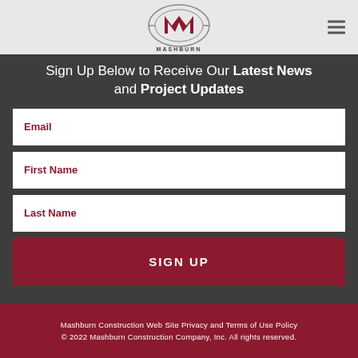[Figure (logo): Mashburn Construction logo with stylized M inside an oval shape and 'MASHBURN' text below]
Sign Up Below to Receive Our Latest News and Project Updates
Email
First Name
Last Name
SIGN UP
Mashburn Construction Web Site Privacy and Terms of Use Policy
© 2022 Mashburn Construction Company, Inc. All rights reserved.